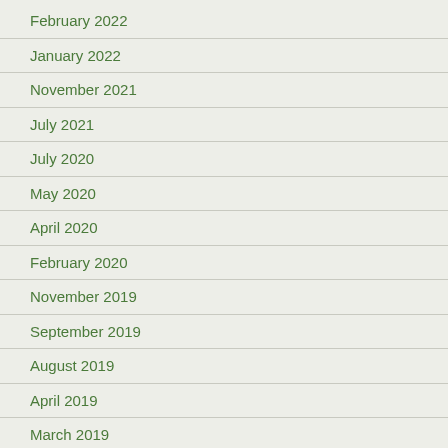February 2022
January 2022
November 2021
July 2021
July 2020
May 2020
April 2020
February 2020
November 2019
September 2019
August 2019
April 2019
March 2019
January 2019
November 2018